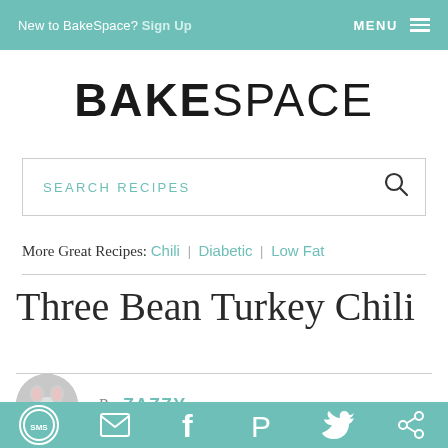New to BakeSpace? Sign Up    MENU ☰
BAKESPACE
SEARCH RECIPES
More Great Recipes: Chili | Diabetic | Low Fat
Three Bean Turkey Chili
By ZAZZY
sms  email  facebook  pinterest  twitter  other